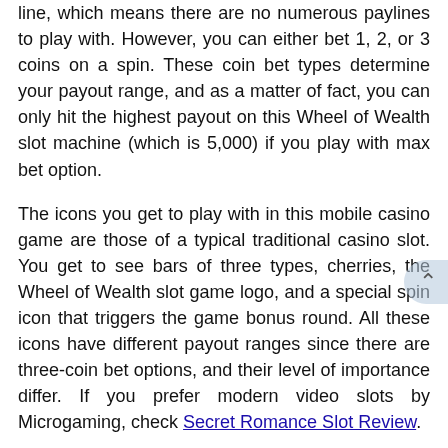line, which means there are no numerous paylines to play with. However, you can either bet 1, 2, or 3 coins on a spin. These coin bet types determine your payout range, and as a matter of fact, you can only hit the highest payout on this Wheel of Wealth slot machine (which is 5,000) if you play with max bet option.
The icons you get to play with in this mobile casino game are those of a typical traditional casino slot. You get to see bars of three types, cherries, the Wheel of Wealth slot game logo, and a special spin icon that triggers the game bonus round. All these icons have different payout ranges since there are three-coin bet options, and their level of importance differ. If you prefer modern video slots by Microgaming, check Secret Romance Slot Review.
A Wheel of Fortune
The bonus rounds here are quite juicy, although